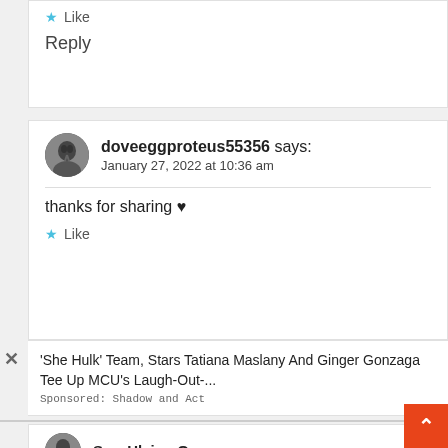Like
Reply
doveeggproteus55356 says: January 27, 2022 at 10:36 am
thanks for sharing ♥
Like
'She Hulk' Team, Stars Tatiana Maslany And Ginger Gonzaga Tee Up MCU's Laugh-Out-...
Sponsored: Shadow and Act
Swe Hlaing Oo says: